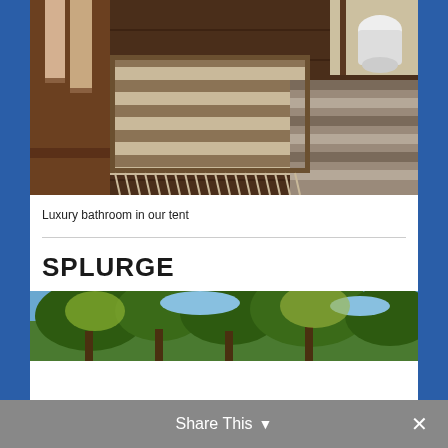[Figure (photo): Luxury bathroom interior of a safari tent with dark wood flooring, woven rugs, hanging towels, and a toilet visible in the background]
Luxury bathroom in our tent
SPLURGE
[Figure (photo): Outdoor safari landscape photo showing trees with spreading canopy against a blue sky]
Share This ˅  ✕